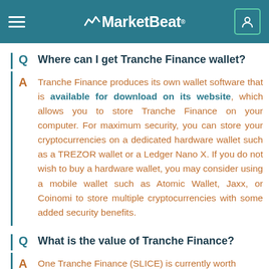MarketBeat
Q  Where can I get Tranche Finance wallet?
A  Tranche Finance produces its own wallet software that is available for download on its website, which allows you to store Tranche Finance on your computer. For maximum security, you can store your cryptocurrencies on a dedicated hardware wallet such as a TREZOR wallet or a Ledger Nano X. If you do not wish to buy a hardware wallet, you may consider using a mobile wallet such as Atomic Wallet, Jaxx, or Coinomi to store multiple cryptocurrencies with some added security benefits.
Q  What is the value of Tranche Finance?
A  One Tranche Finance (SLICE) is currently worth